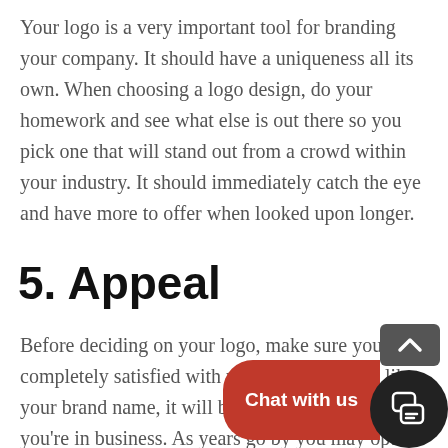Your logo is a very important tool for branding your company. It should have a uniqueness all its own. When choosing a logo design, do your homework and see what else is out there so you pick one that will stand out from a crowd within your industry. It should immediately catch the eye and have more to offer when looked upon longer.
5. Appeal
Before deciding on your logo, make sure you are completely satisfied with your selection. Just like your brand name, it will be with you for as long as you're in business. As years go by you may opt to update your logo but it should always have the same basic [Chat with us] this is how people identify you. Try to pick colours you know you'll love today
[Figure (screenshot): Chat widget overlay with a red 'Chat with us' bubble button and a dark circular chat icon, plus a grey scroll-to-top button above]